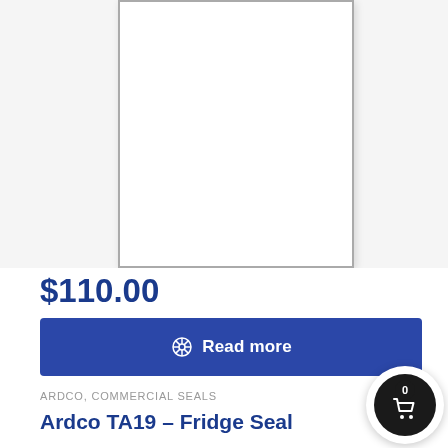[Figure (photo): Product image placeholder showing a white rectangular box with gray border representing a fridge seal product]
$110.00
Read more
ARDCO, COMMERCIAL SEALS
Ardco TA19 – Fridge Seal